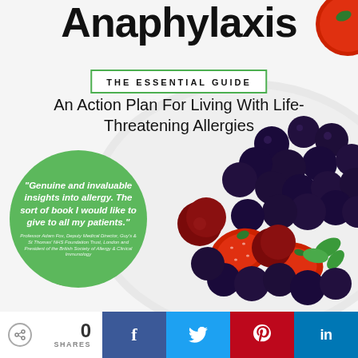Anaphylaxis
THE ESSENTIAL GUIDE
An Action Plan For Living With Life-Threatening Allergies
[Figure (photo): Book cover photo showing a bowl of fresh mixed berries including blueberries, strawberries, cherries on a white plate with a mint leaf garnish, and a single cherry with stem on the left side. A strawberry is visible in the top right corner.]
"Genuine and invaluable insights into allergy. The sort of book I would like to give to all my patients." Professor Adam Fox, Deputy Medical Director, Guy's & St Thomas' NHS Foundation Trust, London and President of the British Society of Allergy & Clinical Immunology
0 SHARES
[Figure (other): Social sharing bar with Facebook, Twitter, Pinterest, and LinkedIn share buttons]